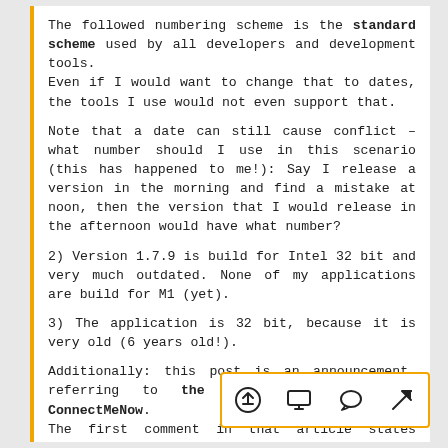The followed numbering scheme is the standard scheme used by all developers and development tools. Even if I would want to change that to dates, the tools I use would not even support that.
Note that a date can still cause conflict – what number should I use in this scenario (this has happened to me!): Say I release a version in the morning and find a mistake at noon, then the version that I would release in the afternoon would have what number?
2) Version 1.7.9 is build for Intel 32 bit and very much outdated. None of my applications are build for M1 (yet).
3) The application is 32 bit, because it is very old (6 years old!).
Additionally: this post is an announcement, referring to the original article for ConnectMeNow. The first comment in that article states clearly “This version is outdated – There is a new available ...” and points to the newer version (64 bit for
[Figure (other): Toolbar with four icons: upload/share arrow, monitor/display, chat/comment bubble, and send/navigation arrow]